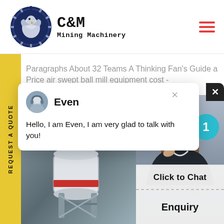[Figure (logo): C&M Mining Machinery logo with eagle/gear icon in dark blue and bold text]
Paragraphs About 32 Teams A Thinking Fan's Guide a Price air swept ball mill equipment cost -
[Figure (screenshot): Chat popup with avatar named Even saying: Hello, I am Even, I am very glad to talk with you!]
[Figure (photo): Industrial ball mill machinery photo on left, customer service agent photo on right with Click to Chat and Enquiry buttons]
REQUEST A QUOTE
Even
Hello, I am Even, I am very glad to talk with you!
Click to Chat
Enquiry